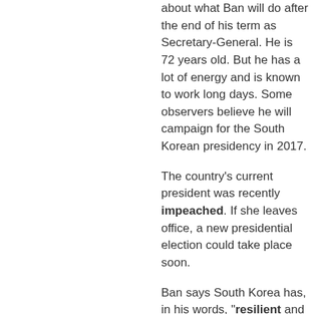about what Ban will do after the end of his term as Secretary-General. He is 72 years old. But he has a lot of energy and is known to work long days. Some observers believe he will campaign for the South Korean presidency in 2017.
The country's current president was recently impeached. If she leaves office, a new presidential election could take place soon.
Ban says South Korea has, in his words, "resilient and mature" democratic institutions. He believes the country will survive the current crisis. He would not confirm or deny that he plans to campaign for the presidency.